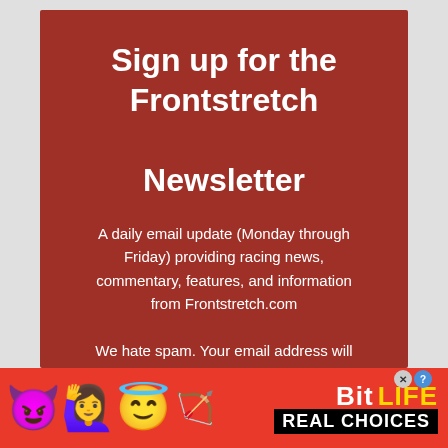Sign up for the Frontstretch Newsletter
A daily email update (Monday through Friday) providing racing news, commentary, features, and information from Frontstretch.com
We hate spam. Your email address will
[Figure (infographic): Red advertisement banner for BitLife game featuring devil emoji, woman with raised hands emoji, angel emoji, sperm emoji, BitLife logo in yellow/white text, and 'REAL CHOICES' text on black background]